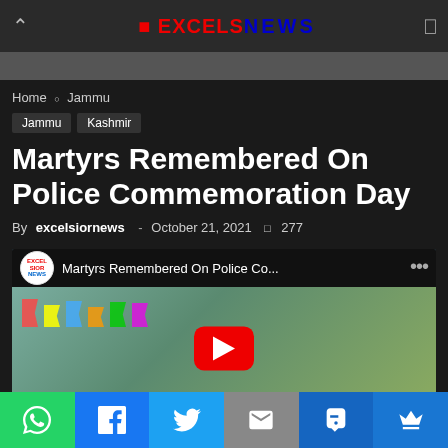Excelsior NEWS
Home › Jammu
Jammu
Kashmir
Martyrs Remembered On Police Commemoration Day
By excelsiornews - October 21, 2021  277
[Figure (screenshot): YouTube video thumbnail showing the article title 'Martyrs Remembered On Police Co...' with Excelsior News channel logo, and a scene of a police commemoration day event with flags and people in uniform.]
Social share bar: WhatsApp, Facebook, Twitter, Email, SMS, Crown